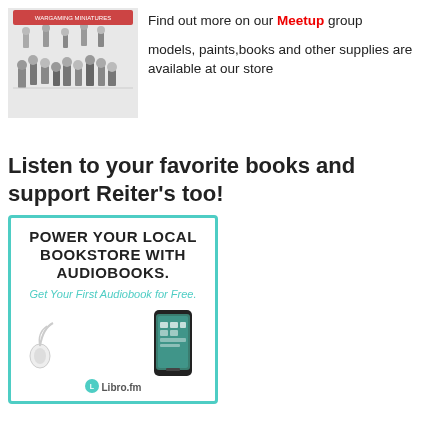[Figure (photo): Miniature figurines/models arranged on a surface, likely wargaming miniatures]
Find out more on our Meetup group
models, paints,books and other supplies are available at our store
Listen to your favorite books and support Reiter's too!
[Figure (illustration): Libro.fm advertisement with teal border: POWER YOUR LOCAL BOOKSTORE WITH AUDIOBOOKS. Get Your First Audiobook for Free. Shows earbuds, a smartphone with app, and Libro.fm logo.]